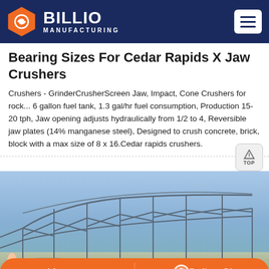BILLIO MANUFACTURING
Bearing Sizes For Cedar Rapids X Jaw Crushers
Crushers - GrinderCrusherScreen Jaw, Impact, Cone Crushers for rock... 6 gallon fuel tank, 1.3 gal/hr fuel consumption, Production 15-20 tph, Jaw opening adjusts hydraulically from 1/2 to 4, Reversible jaw plates (14% manganese steel), Designed to crush concrete, brick, block with a max size of 8 x 16.Cedar rapids crushers.
[Figure (photo): Steel truss/frame structure under construction against blue sky with orange bottom chat bar overlay]